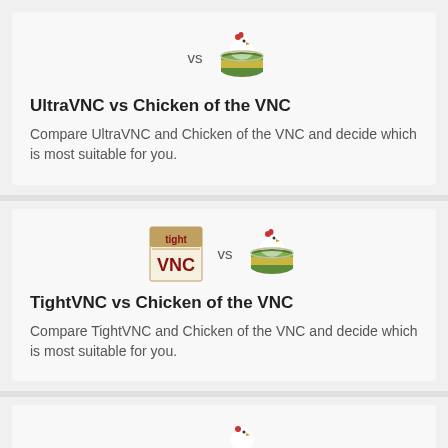[Figure (illustration): Card showing UltraVNC vs Chicken of the VNC icons with 'vs' text]
UltraVNC vs Chicken of the VNC
Compare UltraVNC and Chicken of the VNC and decide which is most suitable for you.
[Figure (illustration): Card showing TightVNC vs Chicken of the VNC icons with 'vs' text]
TightVNC vs Chicken of the VNC
Compare TightVNC and Chicken of the VNC and decide which is most suitable for you.
[Figure (illustration): Partial card at bottom showing vs and Chicken of the VNC icon]